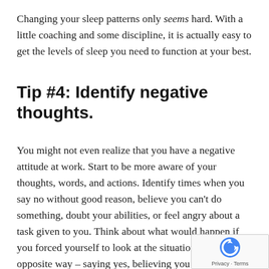Changing your sleep patterns only seems hard. With a little coaching and some discipline, it is actually easy to get the levels of sleep you need to function at your best.
Tip #4: Identify negative thoughts.
You might not even realize that you have a negative attitude at work. Start to be more aware of your thoughts, words, and actions. Identify times when you say no without good reason, believe you can’t do something, doubt your abilities, or feel angry about a task given to you. Think about what would happen if you forced yourself to look at the situation in the opposite way – saying yes, believing you can do something, feeling confident in your abilities, or feeling happy to do a task. Even if you can’t change